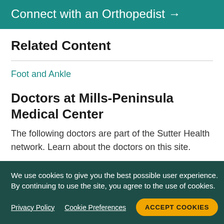Connect with an Orthopedist →
Related Content
Foot and Ankle
Doctors at Mills-Peninsula Medical Center
The following doctors are part of the Sutter Health network. Learn about the doctors on this site.
We use cookies to give you the best possible user experience. By continuing to use the site, you agree to the use of cookies.
Privacy Policy   Cookie Preferences   ACCEPT COOKIES